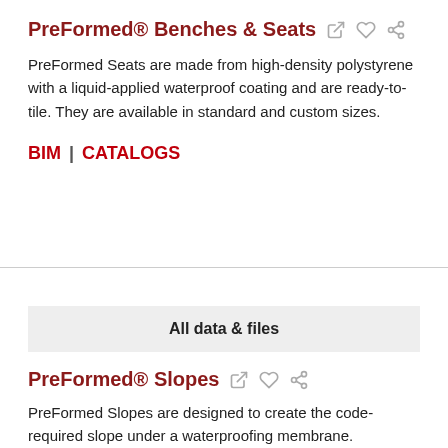PreFormed® Benches & Seats
PreFormed Seats are made from high-density polystyrene with a liquid-applied waterproof coating and are ready-to-tile. They are available in standard and custom sizes.
BIM | CATALOGS
All data & files
PreFormed® Slopes
PreFormed Slopes are designed to create the code-required slope under a waterproofing membrane. PreFormed Slopes allow the mortar bed to drain properly.